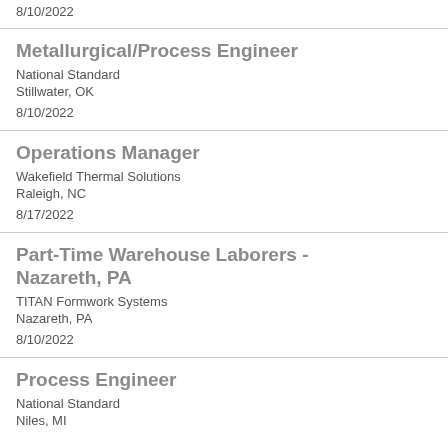8/10/2022
Metallurgical/Process Engineer
National Standard
Stillwater, OK
8/10/2022
Operations Manager
Wakefield Thermal Solutions
Raleigh, NC
8/17/2022
Part-Time Warehouse Laborers - Nazareth, PA
TITAN Formwork Systems
Nazareth, PA
8/10/2022
Process Engineer
National Standard
Niles, MI